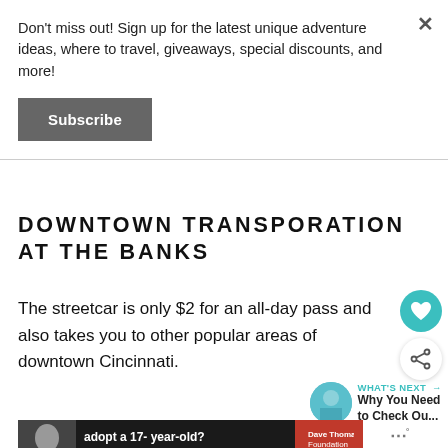Don't miss out! Sign up for the latest unique adventure ideas, where to travel, giveaways, special discounts, and more!
Subscribe
DOWNTOWN TRANSPORATION AT THE BANKS
The streetcar is only $2 for an all-day pass and also takes you to other popular areas of downtown Cincinnati.
WHAT'S NEXT → Why You Need to Check Ou...
[Figure (screenshot): Advertisement banner with woman's photo, text 'adopt a 17-year-old? — Maci, adopted at 17', Dave Thomas Foundation for Adoption logo]
adopt a 17- year-old? — Maci, adopted at 17